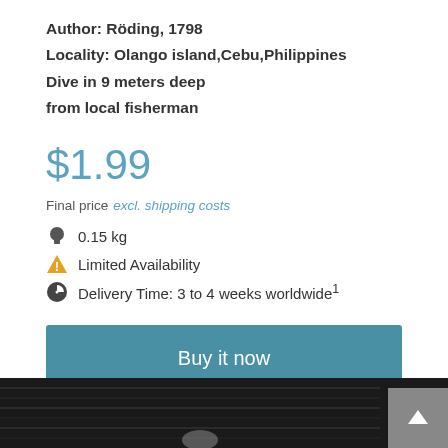Author: Röding, 1798
Locality: Olango island,Cebu,Philippines
Dive in 9 meters deep
from local fisherman
$1.99
Final price excl. shipping costs
0.15 kg
Limited Availability
Delivery Time: 3 to 4 weeks worldwide1
Buy it now
[Figure (photo): Dark photo strip at the bottom of the page, showing a dark background with a faint white shape visible.]